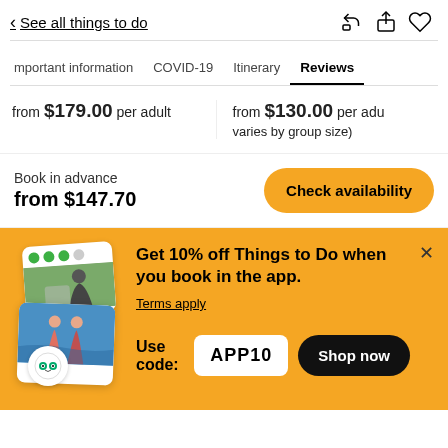< See all things to do
Important information  COVID-19  Itinerary  Reviews
from $179.00 per adult
from $130.00 per adult (price varies by group size)
Book in advance
from $147.70
Check availability
[Figure (screenshot): Promo banner with stacked app screenshots showing tripadvisor badge]
Get 10% off Things to Do when you book in the app.
Terms apply
Use code: APP10
Shop now